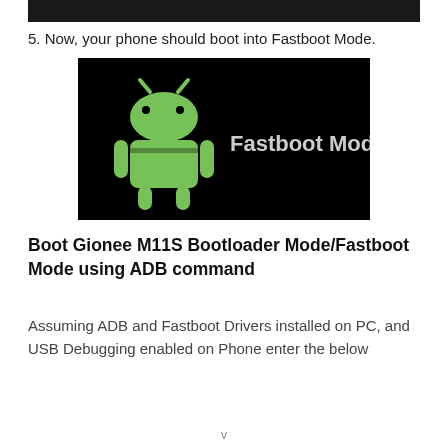[Figure (screenshot): Dark image strip at top of page, partially visible]
5. Now, your phone should boot into Fastboot Mode.
[Figure (screenshot): Black background image showing green Android robot on left and 'Fastboot Mode' text in grey/white on right]
Boot Gionee M11S Bootloader Mode/Fastboot Mode using ADB command
Assuming ADB and Fastboot Drivers installed on PC, and USB Debugging enabled on Phone enter the below
v